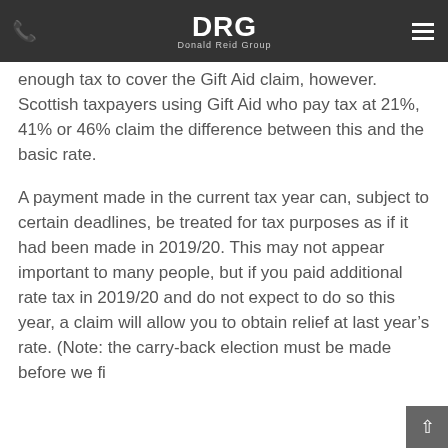DRG Donald Reid Group
way as 20% taxpayers in the rest of the UK. Donors may need to ensure that they have paid enough tax to cover the Gift Aid claim, however. Scottish taxpayers using Gift Aid who pay tax at 21%, 41% or 46% claim the difference between this and the basic rate.
A payment made in the current tax year can, subject to certain deadlines, be treated for tax purposes as if it had been made in 2019/20. This may not appear important to many people, but if you paid additional rate tax in 2019/20 and do not expect to do so this year, a claim will allow you to obtain relief at last year's rate. (Note: the carry-back election must be made before we fi